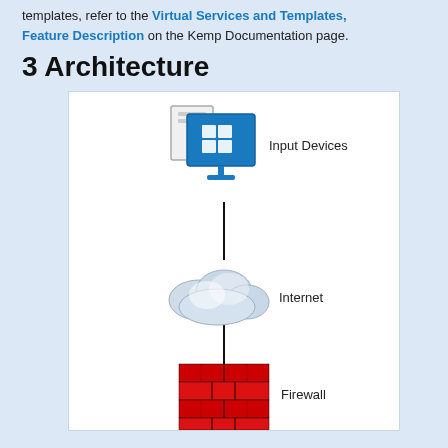templates, refer to the Virtual Services and Templates, Feature Description on the Kemp Documentation page.
3 Architecture
[Figure (engineering-diagram): Architecture diagram showing a vertical stack: Input Devices (computer/monitor icon) at top, connected via vertical line to Internet (cloud icon) in the middle, connected via vertical line to Firewall (red brick wall icon) at the bottom. Each component is labeled to the right.]